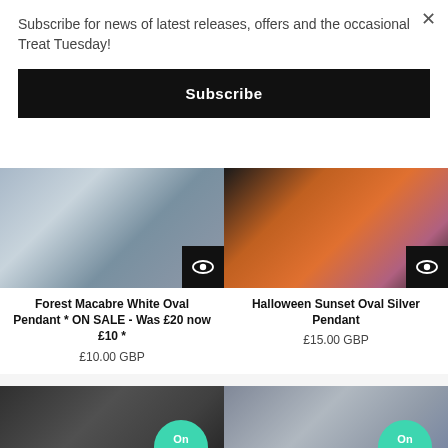Subscribe for news of latest releases, offers and the occasional Treat Tuesday!
Subscribe
[Figure (photo): Blurred grey/blue jewellery product image with eye icon overlay]
Forest Macabre White Oval Pendant * ON SALE - Was £20 now £10 *
£10.00 GBP
[Figure (photo): Dark orange/red Halloween jewellery product image with eye icon overlay]
Halloween Sunset Oval Silver Pendant
£15.00 GBP
[Figure (photo): Dark jewellery product image with On sale badge]
[Figure (photo): Grey/blue jewellery product image with On sale badge]